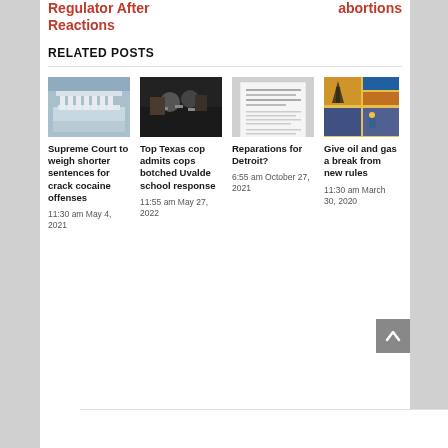Regulator After Reactions
abortions
RELATED POSTS
[Figure (photo): Supreme Court building exterior, white columns, classical architecture]
Supreme Court to weigh shorter sentences for crack cocaine offenses
11:30 am May 4, 2021
[Figure (photo): Texas official speaking at press conference with microphones]
Top Texas cop admits cops botched Uvalde school response
11:55 am May 27, 2022
[Figure (photo): Document or report page with text]
Reparations for Detroit?
6:55 am October 27, 2021
[Figure (photo): Collage of oil and gas industry images including drilling equipment and workers]
Give oil and gas a break from new rules
11:30 am March 30, 2020